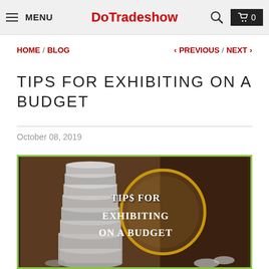MENU | DoTradeshow | Search | Cart 0
HOME / BLOG    < PREVIOUS / NEXT >
TIPS FOR EXHIBITING ON A BUDGET
October 08, 2019
[Figure (photo): Stack of coins with magnifying glass overlay and text 'TIPS FOR EXHIBITING ON A BUDGET' on dark background with green border]